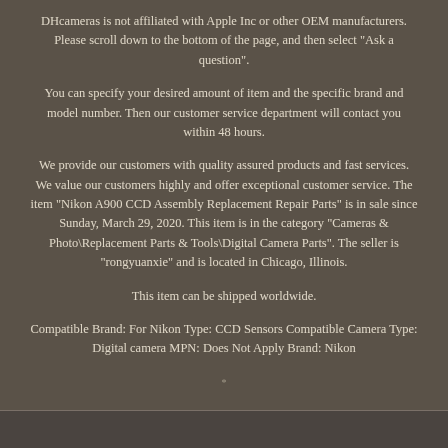DHcameras is not affiliated with Apple Inc or other OEM manufacturers. Please scroll down to the bottom of the page, and then select "Ask a question".
You can specify your desired amount of item and the specific brand and model number. Then our customer service department will contact you within 48 hours.
We provide our customers with quality assured products and fast services. We value our customers highly and offer exceptional customer service. The item "Nikon A900 CCD Assembly Replacement Repair Parts" is in sale since Sunday, March 29, 2020. This item is in the category "Cameras & Photo\Replacement Parts & Tools\Digital Camera Parts". The seller is "rongyuanxie" and is located in Chicago, Illinois.
This item can be shipped worldwide.
Compatible Brand: For Nikon Type: CCD Sensors Compatible Camera Type: Digital camera MPN: Does Not Apply Brand: Nikon